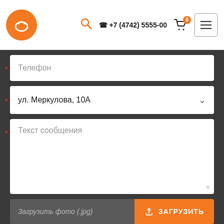[Figure (logo): Orange circular logo with a smiling face in white]
+7 (4742) 5555-00
Телефон
ул. Меркулова, 10А
Текст сообщения
Загрузить фото (.jpg)
ЗАГРУЗИТЬ